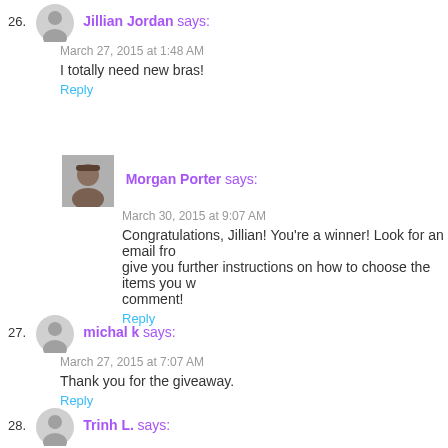26. Jillian Jordan says:
March 27, 2015 at 1:48 AM
I totally need new bras!
Reply
Morgan Porter says:
March 30, 2015 at 9:07 AM
Congratulations, Jillian! You're a winner! Look for an email from us to give you further instructions on how to choose the items you want. Thanks for your comment!
Reply
27. michal k says:
March 27, 2015 at 7:07 AM
Thank you for the giveaway.
Reply
28. Trinh L. says: